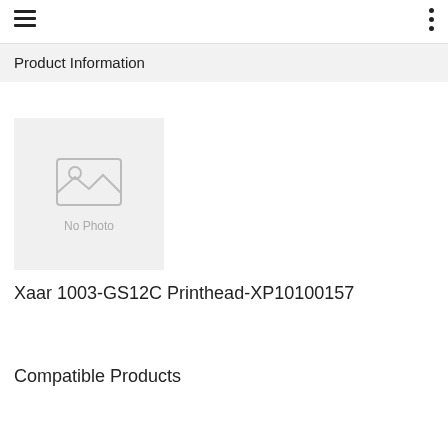Product Information
[Figure (photo): No Photo placeholder image with mountain/landscape icon and 'No Photo' text]
Xaar 1003-GS12C Printhead-XP10100157
Compatible Products